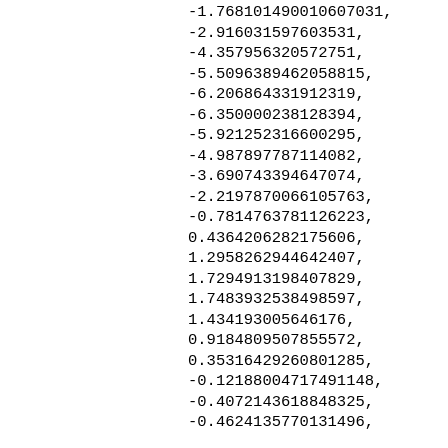-1.768101490010607031, -2.916031597603531, -4.357956320572751, -5.5096389462058815, -6.206864331912319, -6.350000238128394, -5.921252316600295, -4.987897787114082, -3.690743394647074, -2.2197870066105763, -0.7814763781126223, 0.4364206282175606, 1.2958262944642407, 1.7294913198407829, 1.7483932538498597, 1.434193005646176, 0.9184809507855572, 0.35316429260801285, -0.12188004717491148, -0.4072143618848325, -0.4624135770131496,